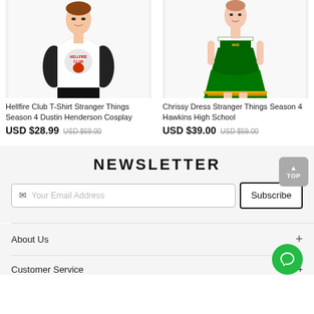[Figure (photo): Product photo of a person wearing a Hellfire Club T-Shirt (white with black sleeves, Stranger Things design)]
Hellfire Club T-Shirt Stranger Things Season 4 Dustin Henderson Cosplay
USD $28.99  USD $69.00
[Figure (photo): Product photo of a person wearing a Chrissy Dress (green and white Hawkins High School cheerleader dress)]
Chrissy Dress Stranger Things Season 4 Hawkins High School
USD $39.00  USD $59.00
NEWSLETTER
Your Email Address
Subscribe
About Us
Customer Service